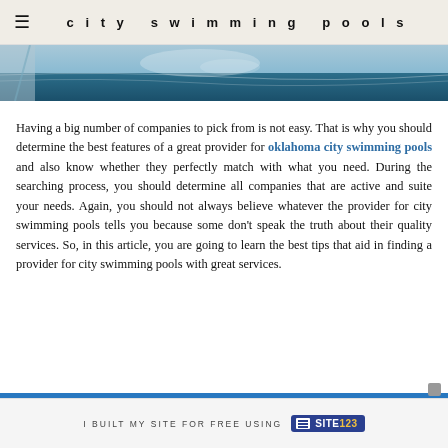city swimming pools
[Figure (photo): Partial view of a swimming pool with water reflections and blue sky, shown as a horizontal strip across the page.]
Having a big number of companies to pick from is not easy. That is why you should determine the best features of a great provider for oklahoma city swimming pools and also know whether they perfectly match with what you need. During the searching process, you should determine all companies that are active and suite your needs. Again, you should not always believe whatever the provider for city swimming pools tells you because some don’t speak the truth about their quality services. So, in this article, you are going to learn the best tips that aid in finding a provider for city swimming pools with great services.
I BUILT MY SITE FOR FREE USING SITE123